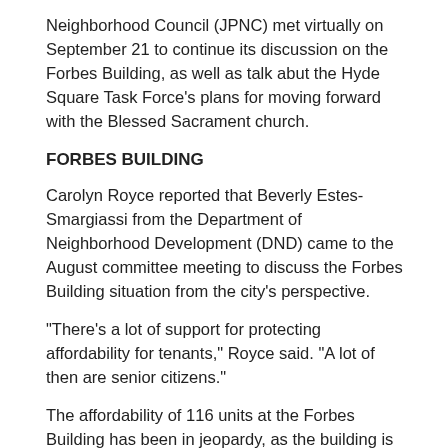Neighborhood Council (JPNC) met virtually on September 21 to continue its discussion on the Forbes Building, as well as talk abut the Hyde Square Task Force’s plans for moving forward with the Blessed Sacrament church.
FORBES BUILDING
Carolyn Royce reported that Beverly Estes-Smargiassi from the Department of Neighborhood Development (DND) came to the August committee meeting to discuss the Forbes Building situation from the city’s perspective.
“There’s a lot of support for protecting affordability for tenants,” Royce said. “A lot of then are senior citizens.”
The affordability of 116 units at the Forbes Building has been in jeopardy, as the building is part of a MassHousing program called the 13A program. As part of the program, the 40 year mortgage on the building matured in March of 2019, which puts the affordability of the units at risk.